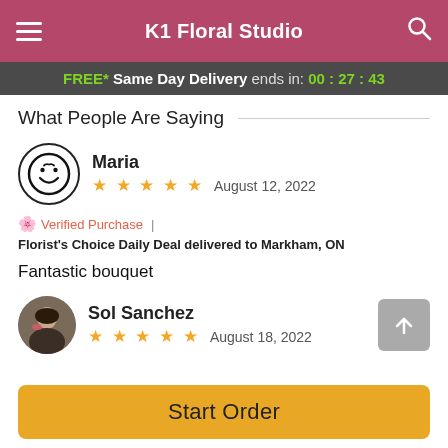K1 Floral Studio
FREE* Same Day Delivery ends in: 00:27:43
What People Are Saying
Maria
★★★★★  August 12, 2022
Verified Purchase | Florist's Choice Daily Deal delivered to Markham, ON
Fantastic bouquet
Sol Sanchez
★★★★★  August 18, 2022
Start Order